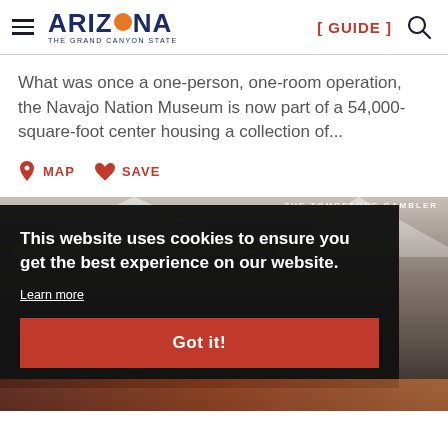ARIZONA THE GRAND CANYON STATE [ GUIDE ]
What was once a one-person, one-room operation, the Navajo Nation Museum is now part of a 54,000-square-foot center housing a collection of...
MAP  SAVE
[Figure (photo): Outdoor market or fair scene with tents and a sign reading 'THE TOMBSTONE GAMBLER'. A semi-transparent dark cookie consent banner overlays the image with text: 'This website uses cookies to ensure you get the best experience on our website.' and a 'Learn more' link and 'Got it!' button.]